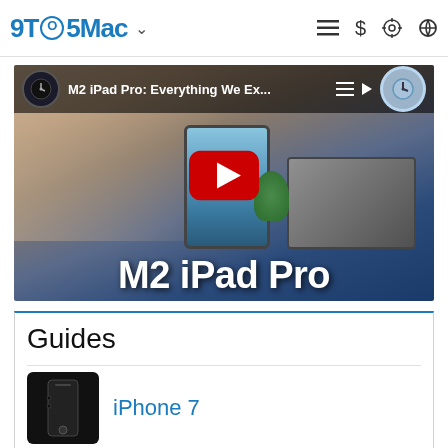9TO5Mac
[Figure (screenshot): YouTube video thumbnail for 'M2 iPad Pro: Everything We Ex...' showing a man with an iPad Pro and keyboard accessory, with large text 'M2 iPad Pro' at the bottom]
Guides
iPhone 7